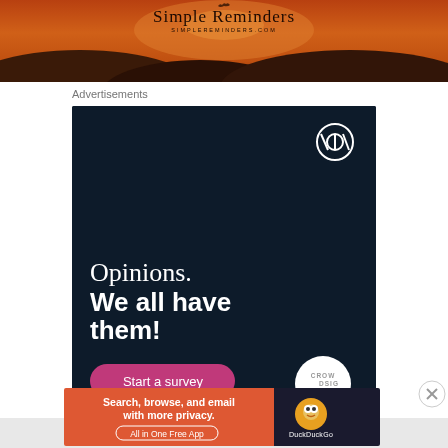[Figure (photo): Sunset/dusk landscape photo with orange-red sky and silhouetted hills, with 'Simple Reminders' text and logo overlay, and 'SIMPLEREMINDERS.COM' subtitle]
Advertisements
[Figure (screenshot): WordPress/Crowdsignal advertisement on dark navy background. Text: 'Opinions. We all have them!' with a pink 'Start a survey' button, WordPress logo top right, Crowdsignal logo bottom right.]
Advertisements
[Figure (screenshot): DuckDuckGo advertisement: orange left panel with 'Search, browse, and email with more privacy. All in One Free App', dark right panel with DuckDuckGo duck logo and DuckDuckGo label.]